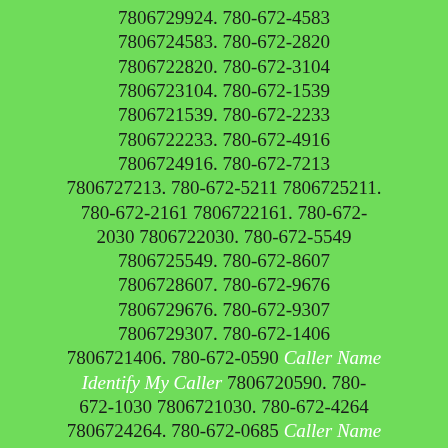7806729924. 780-672-4583 7806724583. 780-672-2820 7806722820. 780-672-3104 7806723104. 780-672-1539 7806721539. 780-672-2233 7806722233. 780-672-4916 7806724916. 780-672-7213 7806727213. 780-672-5211 7806725211. 780-672-2161 7806722161. 780-672-2030 7806722030. 780-672-5549 7806725549. 780-672-8607 7806728607. 780-672-9676 7806729676. 780-672-9307 7806729307. 780-672-1406 7806721406. 780-672-0590 Caller Name Identify My Caller 7806720590. 780-672-1030 7806721030. 780-672-4264 7806724264. 780-672-0685 Caller Name Identify My Caller 7806720685. 780-672-3390 7806723390. 780-672-5982 7806725982. 780-672-5076 7806725076. 780-672-1186 7806721186. 780-672-3113 7806723113. 780-672-4190 7806724190. 780-672-8391 7806728391. 780-672-1642